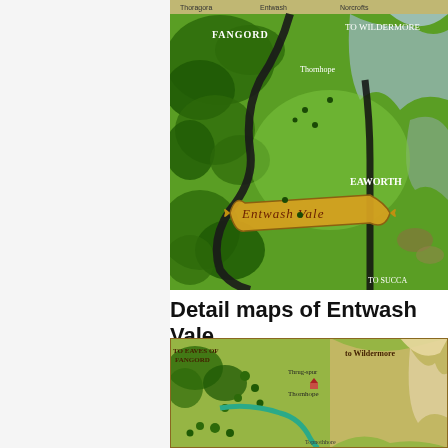[Figure (map): Fantasy map of Entwash Vale region, showing forests, rivers, mountains. Labels include FANGORD, Thornhope, TO WILDERMORE, EAWORTH, ENTWASH VALE (on a banner), TO SUCCA (partial). Top navigation bar visible at upper edge.]
Detail maps of Entwash Vale
[Figure (map): Detailed fantasy map of Entwash Vale area, showing TO EAVES OF FANGORD, Thrug-spur, Thornhope, TO WILDERMORE labels, river, trees, and mountain terrain.]